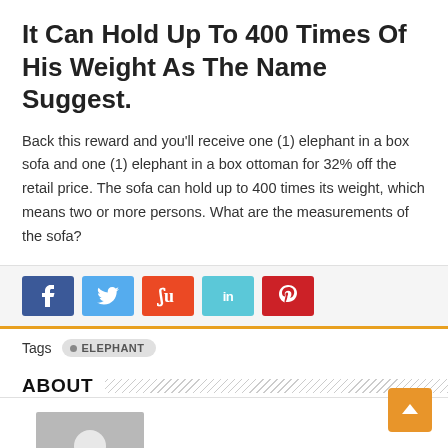It Can Hold Up To 400 Times Of His Weight As The Name Suggest.
Back this reward and you'll receive one (1) elephant in a box sofa and one (1) elephant in a box ottoman for 32% off the retail price. The sofa can hold up to 400 times its weight, which means two or more persons. What are the measurements of the sofa?
[Figure (other): Social share buttons: Facebook (blue), Twitter (light blue), StumbleUpon (orange-red), LinkedIn (teal), Pinterest (red)]
Tags   • ELEPHANT
ABOUT
[Figure (photo): Generic user avatar placeholder: gray background with white silhouette of a person]